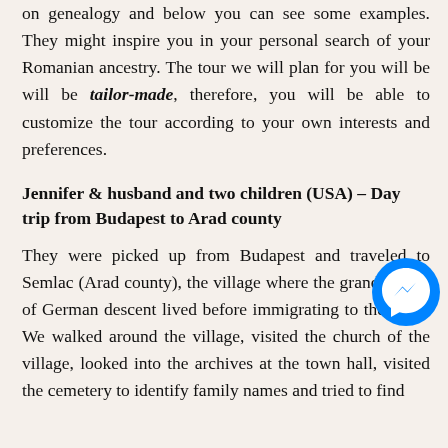on genealogy and below you can see some examples. They might inspire you in your personal search of your Romanian ancestry. The tour we will plan for you will be will be tailor-made, therefore, you will be able to customize the tour according to your own interests and preferences.
Jennifer & husband and two children (USA) – Day trip from Budapest to Arad county
They were picked up from Budapest and traveled to Semlac (Arad county), the village where the grandparents of German descent lived before immigrating to the USA. We walked around the village, visited the church of the village, looked into the archives at the town hall, visited the cemetery to identify family names and tried to find